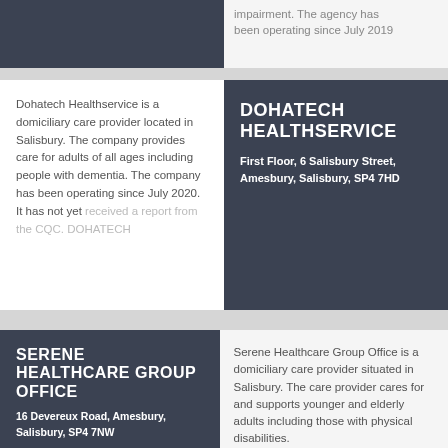impairment. The agency has been operating since July 2019
DOHATECH HEALTHSERVICE
First Floor, 6 Salisbury Street, Amesbury, Salisbury, SP4 7HD
Dohatech Healthservice is a domiciliary care provider located in Salisbury. The company provides care for adults of all ages including people with dementia. The company has been operating since July 2020. It has not yet received a report from the CQC. DOHATECH
SERENE HEALTHCARE GROUP OFFICE
16 Devereux Road, Amesbury, Salisbury, SP4 7NW
Serene Healthcare Group Office is a domiciliary care provider situated in Salisbury. The care provider cares for and supports younger and elderly adults including those with physical disabilities. Additionally, the provider is able to support people with